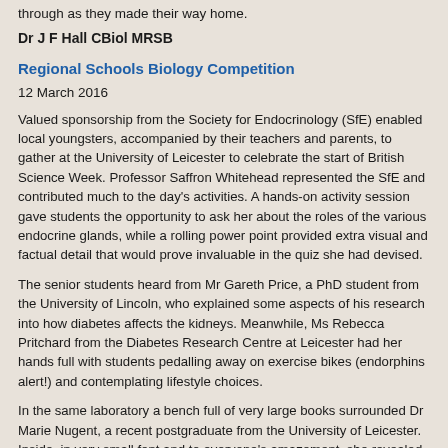through as they made their way home.
Dr J F Hall CBiol MRSB
Regional Schools Biology Competition
12 March 2016
Valued sponsorship from the Society for Endocrinology (SfE) enabled local youngsters, accompanied by their teachers and parents, to gather at the University of Leicester to celebrate the start of British Science Week. Professor Saffron Whitehead represented the SfE and contributed much to the day's activities. A hands-on activity session gave students the opportunity to ask her about the roles of the various endocrine glands, while a rolling power point provided extra visual and factual detail that would prove invaluable in the quiz she had devised.
The senior students heard from Mr Gareth Price, a PhD student from the University of Lincoln, who explained some aspects of his research into how diabetes affects the kidneys. Meanwhile, Ms Rebecca Pritchard from the Diabetes Research Centre at Leicester had her hands full with students pedalling away on exercise bikes (endorphins alert!) and contemplating lifestyle choices.
In the same laboratory a bench full of very large books surrounded Dr Marie Nugent, a recent postgraduate from the University of Leicester. Inside, in very small font and to everyone's amazement, she revealed the complete base sequence for the whole of the human genome. "That has made my day," said one of the teachers present.